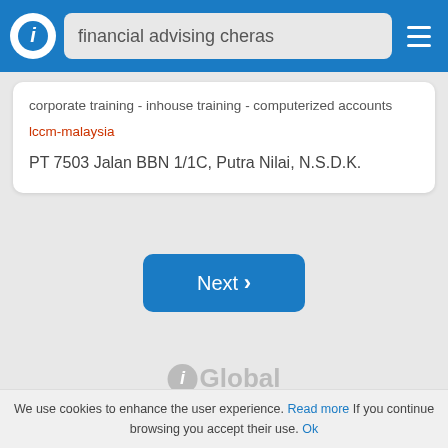financial advising cheras
corporate training - inhouse training - computerized accounts
lccm-malaysia
PT 7503 Jalan BBN 1/1C, Putra Nilai, N.S.D.K.
Next
[Figure (logo): iGlobal logo watermark in grey]
We use cookies to enhance the user experience. Read more If you continue browsing you accept their use. Ok